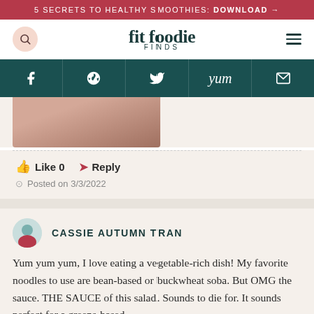5 SECRETS TO HEALTHY SMOOTHIES: DOWNLOAD →
fit foodie FINDS
[Figure (screenshot): Social sharing bar with icons: Facebook, Pinterest, Twitter, Yum, Email on dark teal background]
[Figure (photo): Partial photo of a person, cropped at bottom]
👍 Like 0   ➤ Reply
Posted on 3/3/2022
CASSIE AUTUMN TRAN
Yum yum yum, I love eating a vegetable-rich dish! My favorite noodles to use are bean-based or buckwheat soba. But OMG the sauce. THE SAUCE of this salad. Sounds to die for. It sounds perfect for a greens-based